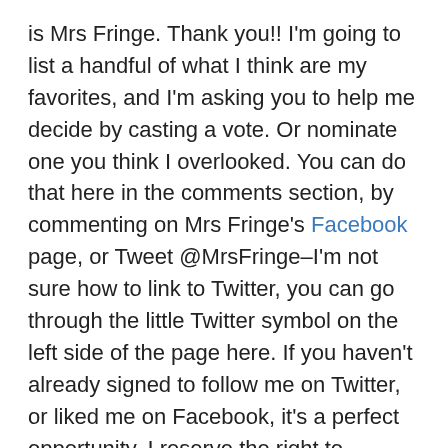is Mrs Fringe.  Thank you!!   I'm going to list a handful of what I think are my favorites, and I'm asking you to help me decide by casting a vote. Or nominate one you think I overlooked.  You can do that here in the comments section, by commenting on Mrs Fringe's Facebook page, or Tweet @MrsFringe–I'm not sure how to link to Twitter, you can go through the little Twitter symbol on the left side of the page here.  If you haven't already signed to follow me on Twitter, or liked me on Facebook, it's a perfect opportunity.  I reserve the right to change my mind, go with the post that gets the most votes, or the reader who presents the most convincing argument.  I had a harder time than expected, choosing which ones to post.  Obviously I'm too in love with the sound of my own voice.

In no particular order, all posts were chosen for one of